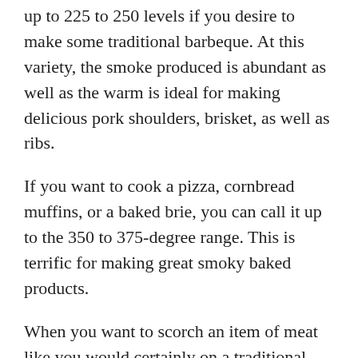up to 225 to 250 levels if you desire to make some traditional barbeque. At this variety, the smoke produced is abundant as well as the warm is ideal for making delicious pork shoulders, brisket, as well as ribs.
If you want to cook a pizza, cornbread muffins, or a baked brie, you can call it up to the 350 to 375-degree range. This is terrific for making great smoky baked products.
When you want to scorch an item of meat like you would certainly on a traditional charcoal or gas direct fire grill, you can crank the grill to the max. With appropriate preheating time, it can obtain completely up to a blistering 450-degrees.